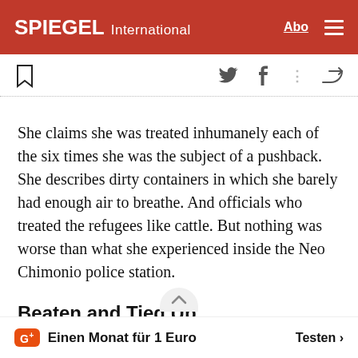SPIEGEL International
She claims she was treated inhumanely each of the six times she was the subject of a pushback. She describes dirty containers in which she barely had enough air to breathe. And officials who treated the refugees like cattle. But nothing was worse than what she experienced inside the Neo Chimonio police station.
Beaten and Tied Up
Einen Monat für 1 Euro   Testen >